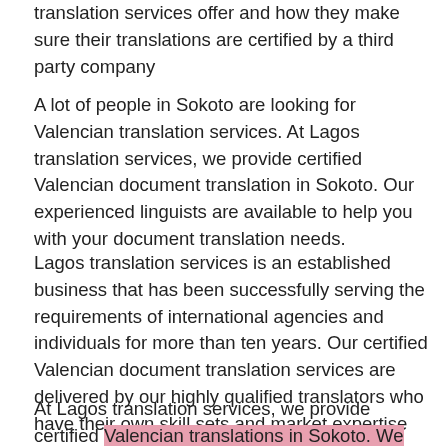translation services offer and how they make sure their translations are certified by a third party company
A lot of people in Sokoto are looking for Valencian translation services. At Lagos translation services, we provide certified Valencian document translation in Sokoto. Our experienced linguists are available to help you with your document translation needs.
Lagos translation services is an established business that has been successfully serving the requirements of international agencies and individuals for more than ten years. Our certified Valencian document translation services are delivered by our highly qualified translators who have their own skill sets and market expertise
At Lagos translation services, we provide certified Valencian translations in Sokoto. We certify all our translations, which